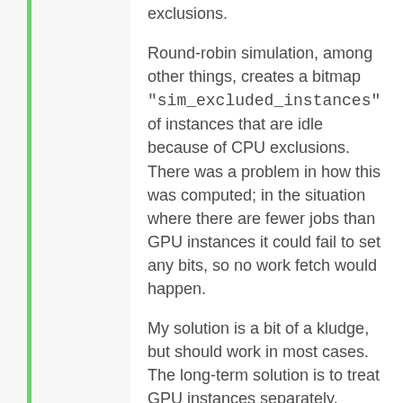exclusions.
Round-robin simulation, among other things, creates a bitmap "sim_excluded_instances" of instances that are idle because of CPU exclusions.
There was a problem in how this was computed; in the situation where there are fewer jobs than GPU instances it could fail to set any bits, so no work fetch would happen.
My solution is a bit of a kludge, but should work in most cases. The long-term solution is to treat GPU instances separately, eliminating the need for GPU exclusions. (David)
client: fix work fetch bugs that caused incorrect GPU fetches.